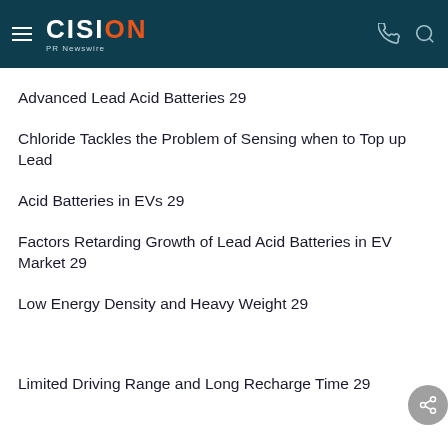CISION PR Newswire
Advanced Lead Acid Batteries 29
Chloride Tackles the Problem of Sensing when to Top up Lead
Acid Batteries in EVs 29
Factors Retarding Growth of Lead Acid Batteries in EV Market 29
Low Energy Density and Heavy Weight 29
Limited Driving Range and Long Recharge Time 29